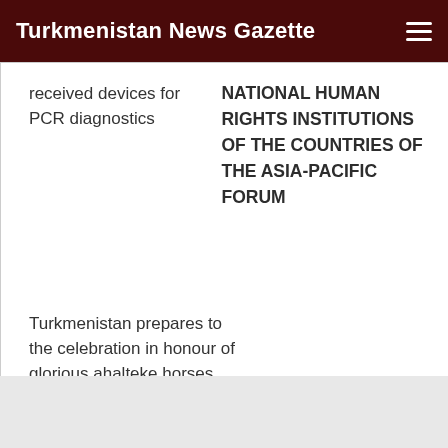Turkmenistan News Gazette
received devices for PCR diagnostics
NATIONAL HUMAN RIGHTS INSTITUTIONS OF THE COUNTRIES OF THE ASIA-PACIFIC FORUM
Turkmenistan prepares to the celebration in honour of glorious ahalteke horses